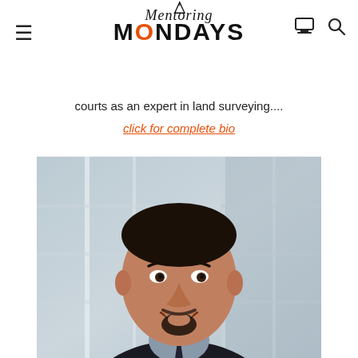Mentoring Mondays
courts as an expert in land surveying....
click for complete bio
[Figure (photo): Professional headshot of a man with dark hair and goatee, wearing a dark suit and tie, smiling, with a blurred glass building background]